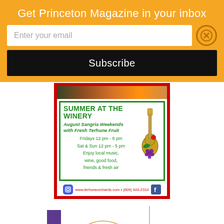Get Princeton Magazine in your inbox
Enter your email
Subscribe
[Figure (illustration): Advertisement for Terhune Orchards winery event: Summer at the Winery. August Sangria Weekends with Fresh Terhune Fruit. Fridays 12 pm - 8 pm, Sat & Sun 12 pm - 5 pm. Enjoy local music, wine, good food, friends & fresh air. Website: www.terhuneorchards.com • (609) 924-2310. Decorated with a guitar illustration with fruit motifs. Instagram and Facebook icons shown.]
[Figure (other): Partially visible illustration or artwork at the bottom of the page, showing a purple rectangle, curved gold lines, a vertical gray line, and partial imagery.]